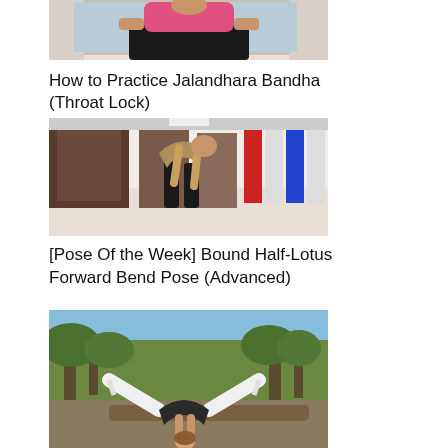[Figure (photo): Partial view of a person in yoga pose sitting, wearing pink top and dark pants, indoors against white curtains]
How to Practice Jalandhara Bandha (Throat Lock)
[Figure (photo): Person performing a deep forward bend yoga pose in a hallway/studio corridor, wearing patterned top and dark pants]
[Pose Of the Week] Bound Half-Lotus Forward Bend Pose (Advanced)
[Figure (photo): Person performing an advanced yoga pose outdoors near trees and water, wearing white pants and black top, bent forward with legs spread wide]